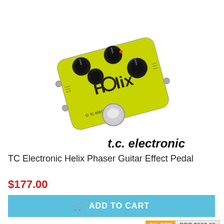[Figure (photo): Yellow TC Electronic Helix Phaser Guitar Effect Pedal with black knobs and footswitch, shown at an angle, with tc electronic logo text below the pedal image]
1% OFF    RRP $179.00
TC Electronic Helix Phaser Guitar Effect Pedal
$177.00
ADD TO CART
6% OFF    RRP $229.00